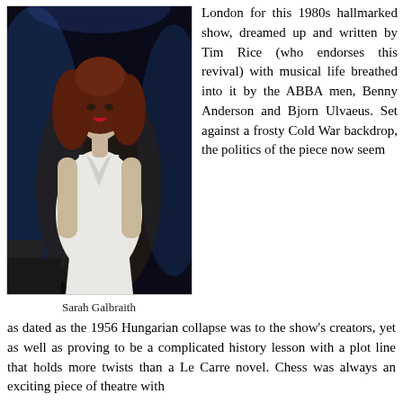[Figure (photo): A woman with long auburn hair, wearing a white wrap dress, performing on a dark stage with blue backlighting.]
Sarah Galbraith
London for this 1980s hallmarked show, dreamed up and written by Tim Rice (who endorses this revival) with musical life breathed into it by the ABBA men, Benny Anderson and Bjorn Ulvaeus. Set against a frosty Cold War backdrop, the politics of the piece now seem as dated as the 1956 Hungarian collapse was to the show's creators, yet as well as proving to be a complicated history lesson with a plot line that holds more twists than a Le Carre novel. Chess was always an exciting piece of theatre with